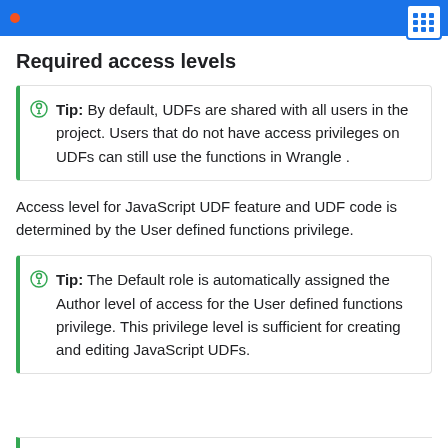Required access levels
Required access levels
Tip: By default, UDFs are shared with all users in the project. Users that do not have access privileges on UDFs can still use the functions in Wrangle .
Access level for JavaScript UDF feature and UDF code is determined by the User defined functions privilege.
Tip: The Default role is automatically assigned the Author level of access for the User defined functions privilege. This privilege level is sufficient for creating and editing JavaScript UDFs.